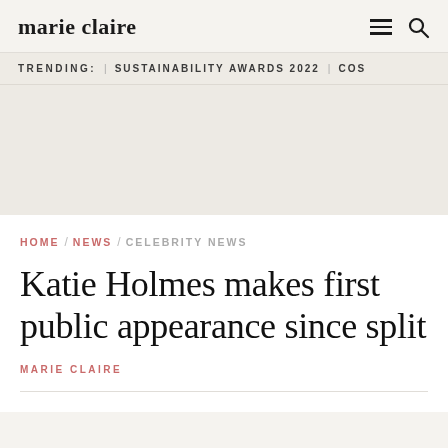marie claire
TRENDING:  SUSTAINABILITY AWARDS 2022  COS
HOME / NEWS / CELEBRITY NEWS
Katie Holmes makes first public appearance since split
MARIE CLAIRE